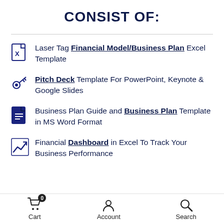CONSIST OF:
Laser Tag Financial Model/Business Plan Excel Template
Pitch Deck Template For PowerPoint, Keynote & Google Slides
Business Plan Guide and Business Plan Template in MS Word Format
Financial Dashboard in Excel To Track Your Business Performance
Cart  Account  Search